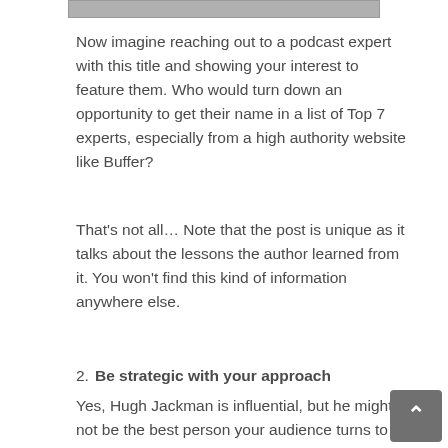[Figure (photo): Partial image strip visible at top of page, gray/photo content]
Now imagine reaching out to a podcast expert with this title and showing your interest to feature them. Who would turn down an opportunity to get their name in a list of Top 7 experts, especially from a high authority website like Buffer?
That's not all… Note that the post is unique as it talks about the lessons the author learned from it. You won't find this kind of information anywhere else.
2. Be strategic with your approach
Yes, Hugh Jackman is influential, but he might not be the best person your audience turns to for advice. The experts you choose to grow your own influence need to have relevance with your audience, even if it means giving up the massive followings you can tap